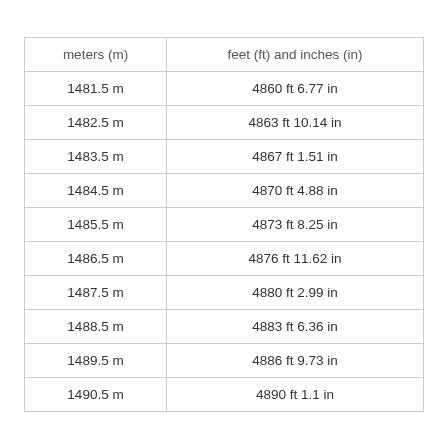| meters (m) | feet (ft) and inches (in) |
| --- | --- |
| 1481.5 m | 4860 ft 6.77 in |
| 1482.5 m | 4863 ft 10.14 in |
| 1483.5 m | 4867 ft 1.51 in |
| 1484.5 m | 4870 ft 4.88 in |
| 1485.5 m | 4873 ft 8.25 in |
| 1486.5 m | 4876 ft 11.62 in |
| 1487.5 m | 4880 ft 2.99 in |
| 1488.5 m | 4883 ft 6.36 in |
| 1489.5 m | 4886 ft 9.73 in |
| 1490.5 m | 4890 ft 1.1 in |